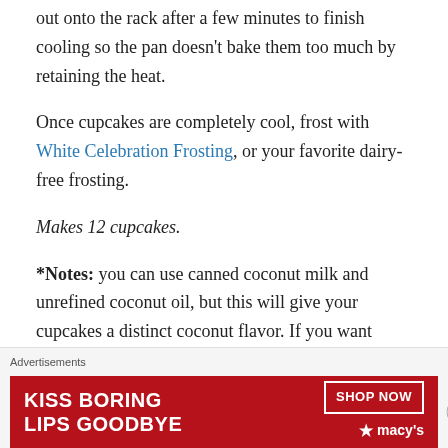out onto the rack after a few minutes to finish cooling so the pan doesn't bake them too much by retaining the heat.
Once cupcakes are completely cool, frost with White Celebration Frosting, or your favorite dairy-free frosting.
Makes 12 cupcakes.
*Notes: you can use canned coconut milk and unrefined coconut oil, but this will give your cupcakes a distinct coconut flavor. If you want them to taste like white cake, please follow the recipe as written. Also, I recommend using Rumford, or another aluminum-free baking powder in recipes calling for more than a teaspoon, as the
[Figure (other): Advertisement banner for Macy's with text 'KISS BORING LIPS GOODBYE' and 'SHOP NOW' button with Macy's star logo on a red background]